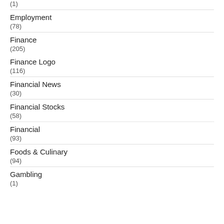(1)
Employment
(78)
Finance
(205)
Finance Logo
(116)
Financial News
(30)
Financial Stocks
(58)
Financial
(93)
Foods & Culinary
(94)
Gambling
(1)